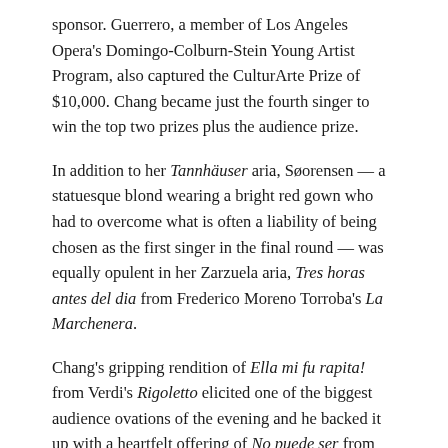sponsor. Guerrero, a member of Los Angeles Opera's Domingo-Colburn-Stein Young Artist Program, also captured the CulturArte Prize of $10,000. Chang became just the fourth singer to win the top two prizes plus the audience prize.
In addition to her Tannhäuser aria, Søorensen — a statuesque blond wearing a bright red gown who had to overcome what is often a liability of being chosen as the first singer in the final round — was equally opulent in her Zarzuela aria, Tres horas antes del dia from Frederico Moreno Torroba's La Marchenera.
Chang's gripping rendition of Ella mi fu rapita! from Verdi's Rigoletto elicited one of the biggest audience ovations of the evening and he backed it up with a heartfelt offering of No puede ser from Pablo Sorozábal's La tabemera del puerto in the Zarzuela portion.
The 13 finalists came from 40 singers, ages 18-32, who represented 17 nations. The field was trimmed to 22